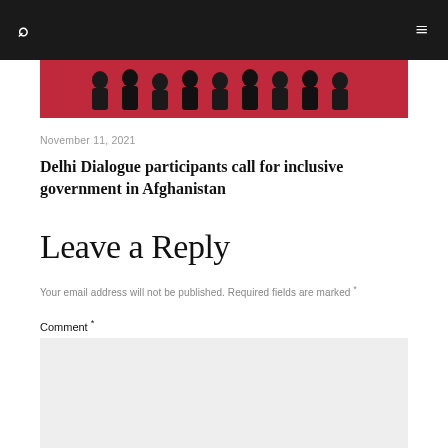🔍  ≡
[Figure (photo): Red background with dark silhouettes of people, partial view of a group photo from Delhi Dialogue event]
November 11, 2021
Delhi Dialogue participants call for inclusive government in Afghanistan
Leave a Reply
Your email address will not be published. Required fields are marked *
Comment *